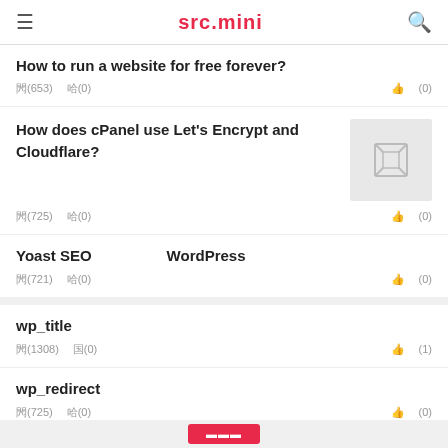src.mini
How to run a website for free forever?
閲(653)   口(0)   👍 口(0)
How does cPanel use Let's Encrypt and Cloudflare?
閲(725)   口(0)   👍 口(0)
Yoast SEO□□□□□WordPress□□□□□
閲(721)   口(0)   👍 口(0)
wp_title□□□□□□□□□□□□□□
閲(1308)   国(0)   👍 口(1)
wp_redirect□□□
閲(725)   口(0)   👍 口(0)